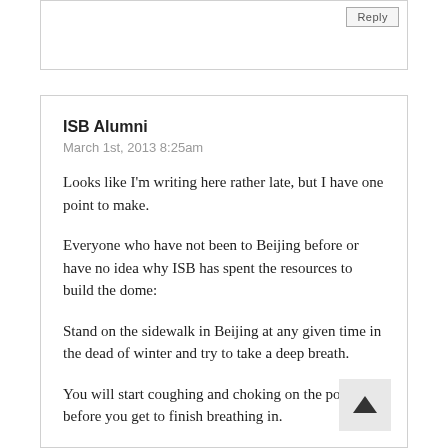ISB Alumni
March 1st, 2013 8:25am

Looks like I'm writing here rather late, but I have one point to make.

Everyone who have not been to Beijing before or have no idea why ISB has spent the resources to build the dome:

Stand on the sidewalk in Beijing at any given time in the dead of winter and try to take a deep breath.

You will start coughing and choking on the pollution before you get to finish breathing in.

Now try to do sports or even play tag (ISB does include an